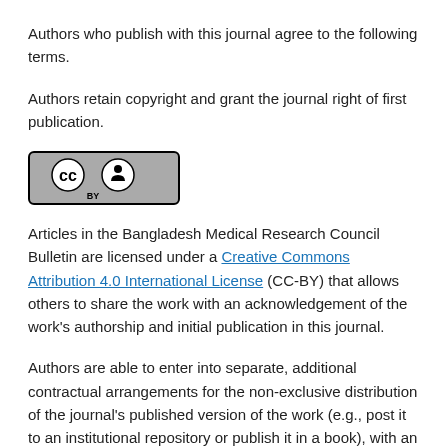Authors who publish with this journal agree to the following terms.
Authors retain copyright and grant the journal right of first publication.
[Figure (logo): Creative Commons CC-BY license badge showing CC and BY icons inside a rounded rectangle border]
Articles in the Bangladesh Medical Research Council Bulletin are licensed under a Creative Commons Attribution 4.0 International License (CC-BY) that allows others to share the work with an acknowledgement of the work's authorship and initial publication in this journal.
Authors are able to enter into separate, additional contractual arrangements for the non-exclusive distribution of the journal's published version of the work (e.g., post it to an institutional repository or publish it in a book), with an acknowledgement of its initial publication in this journal.